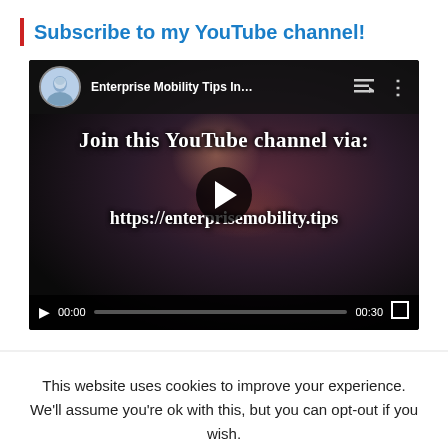Subscribe to my YouTube channel!
[Figure (screenshot): YouTube video embed showing 'Enterprise Mobility Tips In...' channel with video thumbnail displaying text 'Join this YouTube channel via: https://enterprisemobility.tips' with play button, avatar, and video controls showing 00:00 / 00:30]
This website uses cookies to improve your experience. We'll assume you're ok with this, but you can opt-out if you wish.
Accept   Read More